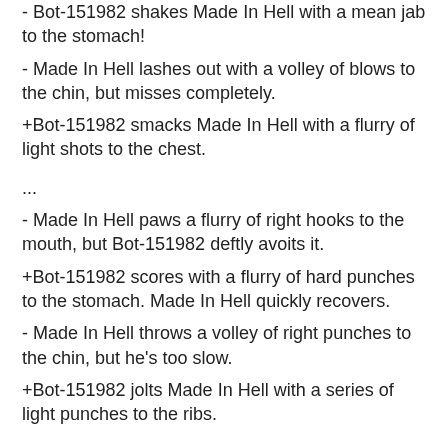- Bot-151982 shakes Made In Hell with a mean jab to the stomach!
- Made In Hell lashes out with a volley of blows to the chin, but misses completely.
+Bot-151982 smacks Made In Hell with a flurry of light shots to the chest.
...
- Made In Hell paws a flurry of right hooks to the mouth, but Bot-151982 deftly avoits it.
+Bot-151982 scores with a flurry of hard punches to the stomach. Made In Hell quickly recovers.
- Made In Hell throws a volley of right punches to the chin, but he's too slow.
+Bot-151982 jolts Made In Hell with a series of light punches to the ribs.
...
...
...
...